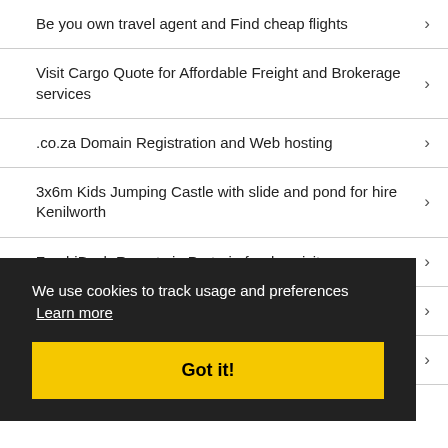Be you own travel agent and Find cheap flights
Visit Cargo Quote for Affordable Freight and Brokerage services
.co.za Domain Registration and Web hosting
3x6m Kids Jumping Castle with slide and pond for hire Kenilworth
ZambiBush Resorts in Pretoria for day visits
Automotive
Business Equipment
We use cookies to track usage and preferences  Learn more
Got it!